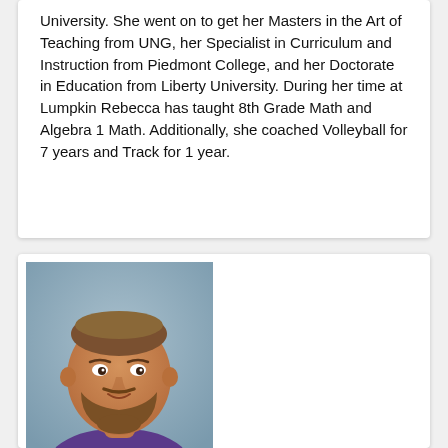University. She went on to get her Masters in the Art of Teaching from UNG, her Specialist in Curriculum and Instruction from Piedmont College, and her Doctorate in Education from Liberty University. During her time at Lumpkin Rebecca has taught 8th Grade Math and Algebra 1 Math. Additionally, she coached Volleyball for 7 years and Track for 1 year.
[Figure (photo): Headshot of a man with a shaved head and beard, wearing a purple polo shirt, against a blue-grey background.]